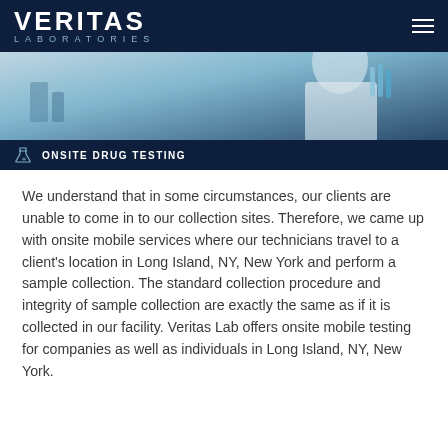VERITAS LABORATORIES
[Figure (photo): Hero image of a laboratory technician in a white coat handling test tubes with blue-tinted laboratory background]
ONSITE DRUG TESTING
We understand that in some circumstances, our clients are unable to come in to our collection sites. Therefore, we came up with onsite mobile services where our technicians travel to a client's location in Long Island, NY, New York and perform a sample collection. The standard collection procedure and integrity of sample collection are exactly the same as if it is collected in our facility. Veritas Lab offers onsite mobile testing for companies as well as individuals in Long Island, NY, New York.